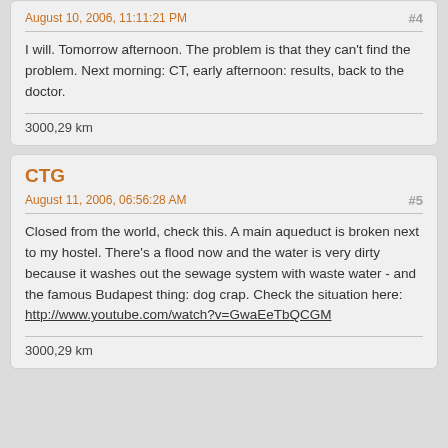August 10, 2006, 11:11:21 PM
#4
I will. Tomorrow afternoon. The problem is that they can't find the problem. Next morning: CT, early afternoon: results, back to the doctor.
3000,29 km
CTG
August 11, 2006, 06:56:28 AM
#5
Closed from the world, check this. A main aqueduct is broken next to my hostel. There's a flood now and the water is very dirty because it washes out the sewage system with waste water - and the famous Budapest thing: dog crap. Check the situation here: http://www.youtube.com/watch?v=GwaEeTbQCGM
3000,29 km